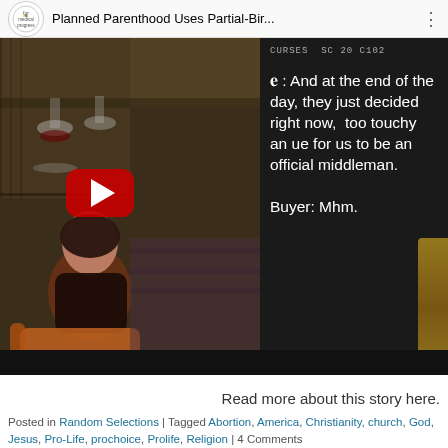[Figure (screenshot): YouTube video thumbnail/player showing a video titled 'Planned Parenthood Uses Partial-Bir...' with a medical progress org logo. Left half shows a woman sitting in a restaurant/bar setting with wine glasses. Right side shows dark panel with white subtitle text: 'B : And at the end of the day, they just decided right now, too touchy an ue for us to be an official middleman. Buyer: Mhm.' A red YouTube play button overlay is visible.]
Read more about this story here.
Posted in Random Selections | Tagged Abortion, America, Christianity, church, God, Jesus, Pro-Life, prochoice, Prolife, Religion | 4 Comments